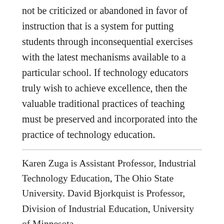not be criticized or abandoned in favor of instruction that is a system for putting students through inconsequential exercises with the latest mechanisms available to a particular school. If technology educators truly wish to achieve excellence, then the valuable traditional practices of teaching must be preserved and incorporated into the practice of technology education.
Karen Zuga is Assistant Professor, Industrial Technology Education, The Ohio State University. David Bjorkquist is Professor, Division of Industrial Education, University of Minnesota.
Permission is given to copy any article or graphic provided credit is given and the copying is not intended for sale.